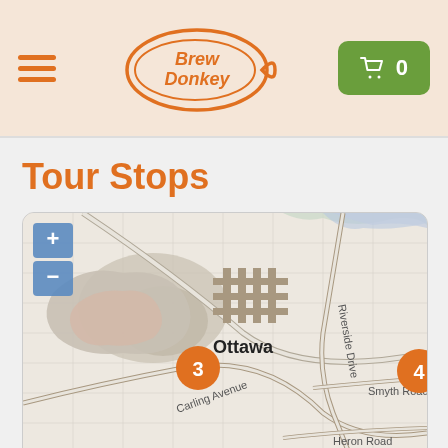Brew Donkey — navigation header with hamburger menu, logo, and cart button (0 items)
Tour Stops
[Figure (map): Interactive map of Ottawa showing tour stop markers numbered 3 and 4, with street labels including Carling Avenue, Riverside Drive, Smyth Road, and Heron Road. Map zoom controls (+ and -) are visible in the upper left corner.]